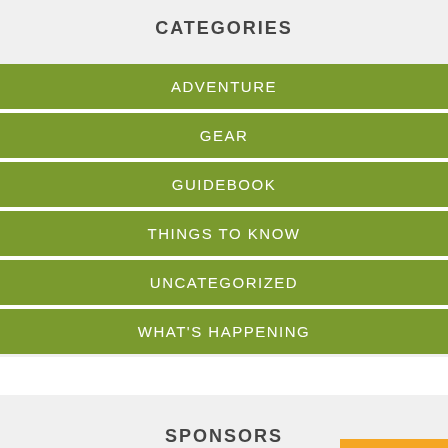CATEGORIES
ADVENTURE
GEAR
GUIDEBOOK
THINGS TO KNOW
UNCATEGORIZED
WHAT'S HAPPENING
SPONSORS
Translate »